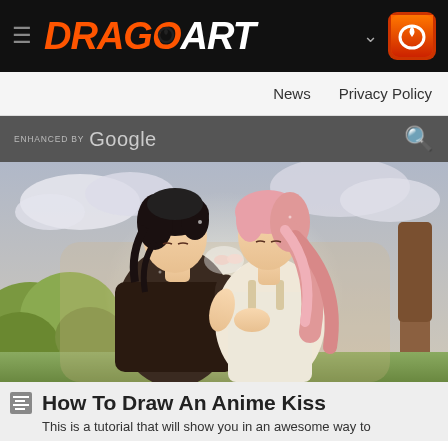DRAGOART - Navigation header with hamburger menu, logo, chevron and icon
News  Privacy Policy
enhanced by Google [search bar]
[Figure (illustration): Anime illustration of two characters sharing a kiss outdoors, one with black hair wearing dark clothes and one with pink hair wearing a light top, green trees and cloudy sky in background]
How To Draw An Anime Kiss
This is a tutorial that will show you in an awesome way to